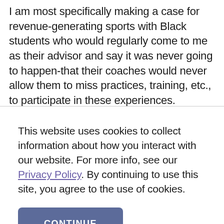I am most specifically making a case for revenue-generating sports with Black students who would regularly come to me as their advisor and say it was never going to happen-that their coaches would never allow them to miss practices, training, etc., to participate in these experiences.
This website uses cookies to collect information about how you interact with our website. For more info, see our Privacy Policy. By continuing to use this site, you agree to the use of cookies.
CONTINUE